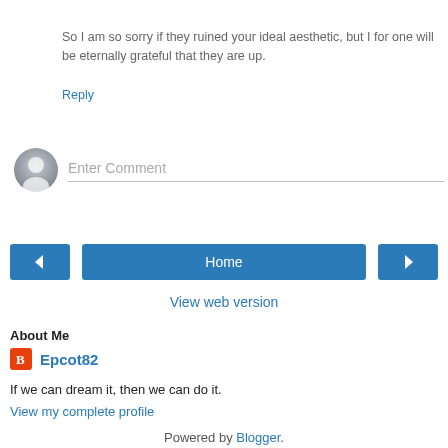So I am so sorry if they ruined your ideal aesthetic, but I for one will be eternally grateful that they are up.
Reply
[Figure (other): Comment input area with avatar and Enter Comment placeholder]
[Figure (other): Navigation buttons: left arrow, Home, right arrow]
View web version
About Me
Epcot82
If we can dream it, then we can do it.
View my complete profile
Powered by Blogger.